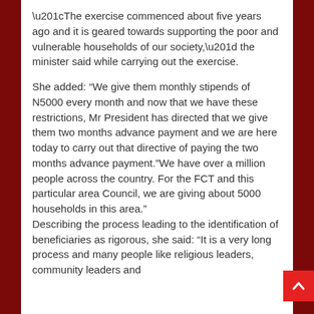“The exercise commenced about five years ago and it is geared towards supporting the poor and vulnerable households of our society,” the minister said while carrying out the exercise.
She added: “We give them monthly stipends of N5000 every month and now that we have these restrictions, Mr President has directed that we give them two months advance payment and we are here today to carry out that directive of paying the two months advance payment.”We have over a million people across the country. For the FCT and this particular area Council, we are giving about 5000 households in this area.” Describing the process leading to the identification of beneficiaries as rigorous, she said: “It is a very long process and many people like religious leaders, community leaders and